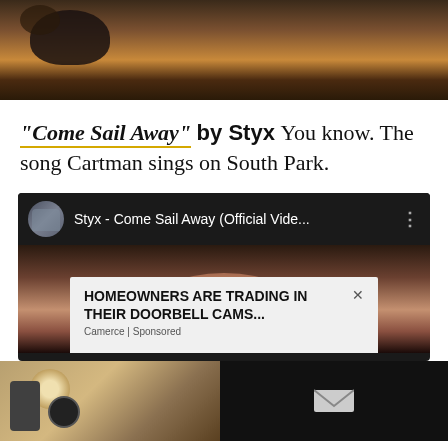[Figure (photo): Close-up photo of what appears to be a badger or similar animal on brown/tan ground surface, dark background.]
"Come Sail Away" by Styx You know. The song Cartman sings on South Park.
[Figure (screenshot): YouTube video thumbnail showing 'Styx - Come Sail Away (Official Vide...' with band avatar and video thumbnail of a face. An ad overlay reads 'HOMEOWNERS ARE TRADING IN THEIR DOORBELL CAMS...' from Camerce | Sponsored.]